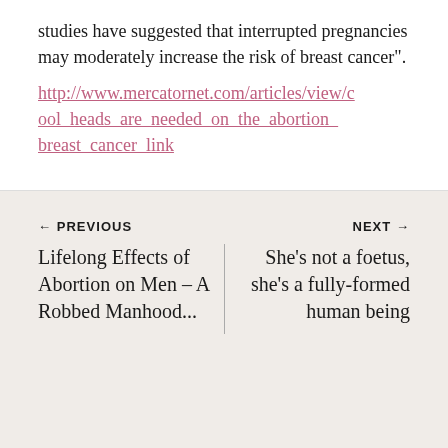studies have suggested that interrupted pregnancies may moderately increase the risk of breast cancer".
http://www.mercatornet.com/articles/view/cool_heads_are_needed_on_the_abortion_breast_cancer_link
← PREVIOUS
NEXT →
Lifelong Effects of Abortion on Men – A Robbed Manhood...
She's not a foetus, she's a fully-formed human being